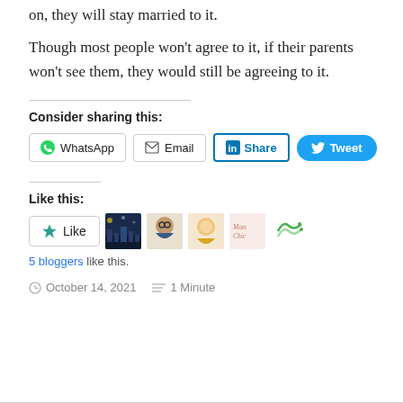on, they will stay married to it.
Though most people won't agree to it, if their parents won't see them, they would still be agreeing to it.
Consider sharing this:
[Figure (other): Social sharing buttons: WhatsApp, Email, LinkedIn Share, Tweet]
Like this:
[Figure (other): Like button and 5 blogger avatar thumbnails]
5 bloggers like this.
October 14, 2021   1 Minute